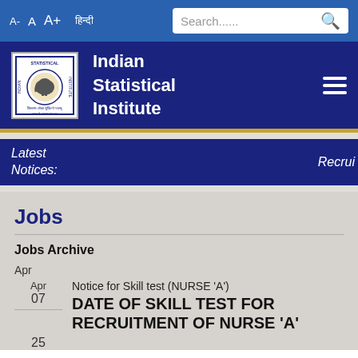A- A A+ हिन्दी Search......
Indian Statistical Institute
Latest Notices:
Recrui
Jobs
Jobs Archive
Apr
Apr 07 — Notice for Skill test (NURSE 'A') — DATE OF SKILL TEST FOR RECRUITMENT OF NURSE 'A'
25